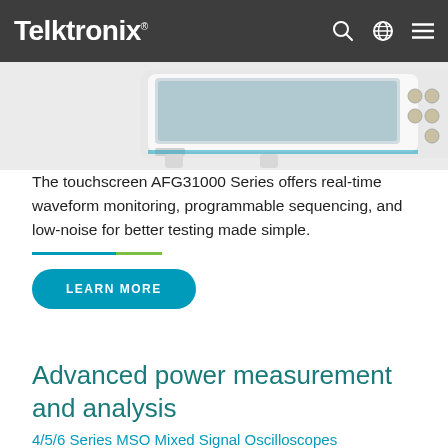Tektronix
[Figure (photo): Tektronix AFG31000 Series arbitrary function generator, white device with screen and BNC connectors, shown from above/front angle]
The touchscreen AFG31000 Series offers real-time waveform monitoring, programmable sequencing, and low-noise for better testing made simple.
LEARN MORE
Advanced power measurement and analysis
4/5/6 Series MSO Mixed Signal Oscilloscopes